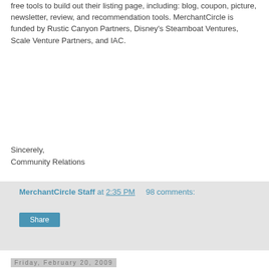free tools to build out their listing page, including: blog, coupon, picture, newsletter, review, and recommendation tools. MerchantCircle is funded by Rustic Canyon Partners, Disney's Steamboat Ventures, Scale Venture Partners, and IAC.
Sincerely,
Community Relations
MerchantCircle Staff at 2:35 PM    98 comments:
Share
Friday, February 20, 2009
Small Business Owners Saving Money By Leaving Print Advertising
[Figure (screenshot): Screenshot of a website showing a video section with 'VIDEO' label and 'LASER EYE CENTER' header, with navigation menu at top]